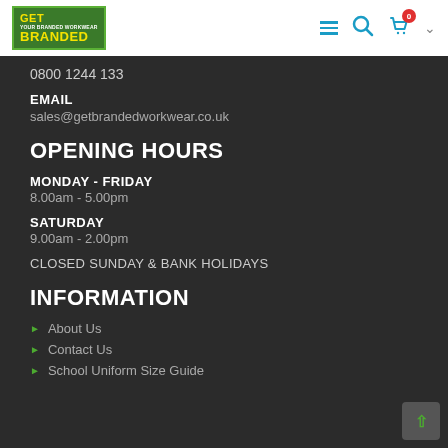Get Branded logo, navigation hamburger, search, cart (0)
0800 1244 133
EMAIL
sales@getbrandedworkwear.co.uk
OPENING HOURS
MONDAY - FRIDAY
8.00am - 5.00pm
SATURDAY
9.00am - 2.00pm
CLOSED SUNDAY & BANK HOLIDAYS
INFORMATION
About Us
Contact Us
School Uniform Size Guide